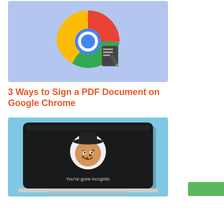[Figure (illustration): Google Chrome logo with a document/sign icon on a light blue background]
3 Ways to Sign a PDF Document on Google Chrome
[Figure (screenshot): Laptop screen showing incognito mode page with cookie spy mascot and text 'You've gone incognito' on a light blue background]